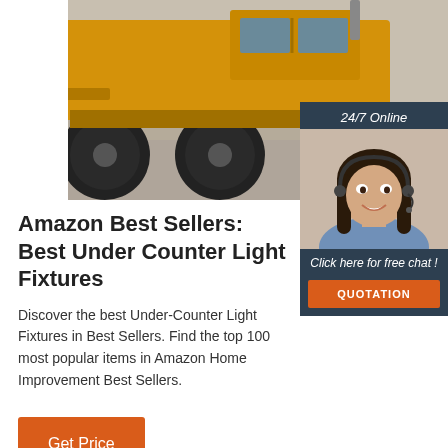[Figure (photo): A yellow heavy construction vehicle (grader/motor grader) with large black tires on sandy/concrete ground, photographed from a low angle showing the front and undercarriage.]
[Figure (infographic): A dark navy blue chat/customer service widget overlay showing '24/7 Online' text at top, a photo of a smiling brunette woman wearing a headset (customer service agent), text 'Click here for free chat !' and an orange 'QUOTATION' button.]
Amazon Best Sellers: Best Under Counter Light Fixtures
Discover the best Under-Counter Light Fixtures in Best Sellers. Find the top 100 most popular items in Amazon Home Improvement Best Sellers.
Get Price